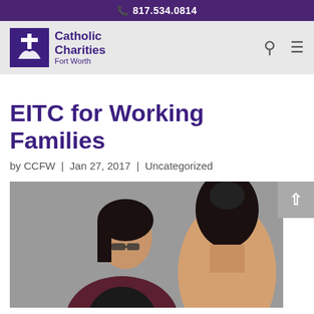817.534.0814
[Figure (logo): Catholic Charities Fort Worth logo with cross icon]
EITC for Working Families
by CCFW | Jan 27, 2017 | Uncategorized
[Figure (photo): Two women, one with glasses looking down at paperwork, the other with hair up facing away from camera]